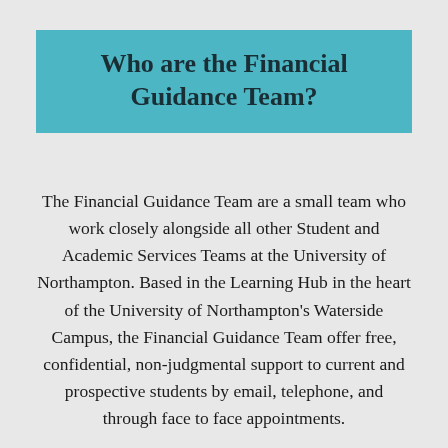Who are the Financial Guidance Team?
The Financial Guidance Team are a small team who work closely alongside all other Student and Academic Services Teams at the University of Northampton. Based in the Learning Hub in the heart of the University of Northampton's Waterside Campus, the Financial Guidance Team offer free, confidential, non-judgmental support to current and prospective students by email, telephone, and through face to face appointments.